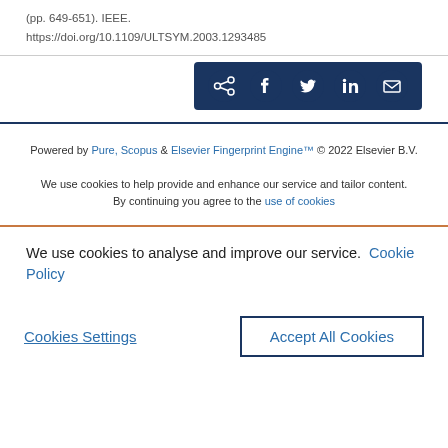(pp. 649-651). IEEE. https://doi.org/10.1109/ULTSYM.2003.1293485
[Figure (other): Share buttons bar with icons for share, Facebook, Twitter, LinkedIn, and email on a dark navy background]
Powered by Pure, Scopus & Elsevier Fingerprint Engine™ © 2022 Elsevier B.V.
We use cookies to help provide and enhance our service and tailor content. By continuing you agree to the use of cookies
We use cookies to analyse and improve our service. Cookie Policy
Cookies Settings
Accept All Cookies